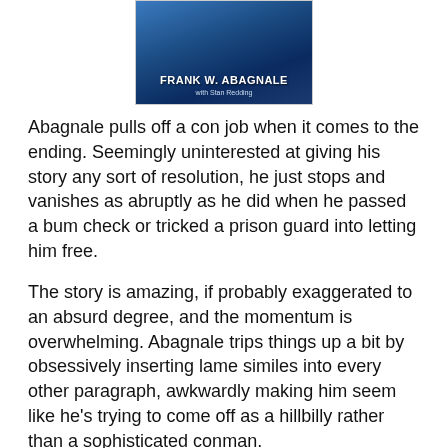[Figure (photo): Book cover of 'Catch Me If You Can' by Frank W. Abagnale with Stan Redding, showing a blue-toned cover with the author's name prominently displayed.]
Abagnale pulls off a con job when it comes to the ending. Seemingly uninterested at giving his story any sort of resolution, he just stops and vanishes as abruptly as he did when he passed a bum check or tricked a prison guard into letting him free.
The story is amazing, if probably exaggerated to an absurd degree, and the momentum is overwhelming. Abagnale trips things up a bit by obsessively inserting lame similes into every other paragraph, awkwardly making him seem like he's trying to come off as a hillbilly rather than a sophisticated conman.
The movie is way better than the book, but could have incorporated more of his crazy scams. Abagnale was a chameleon who masqueraded as an airline pilot, doctor, college professor and prison inspector. The joy with which he recounts his capers is contagious, and the inner